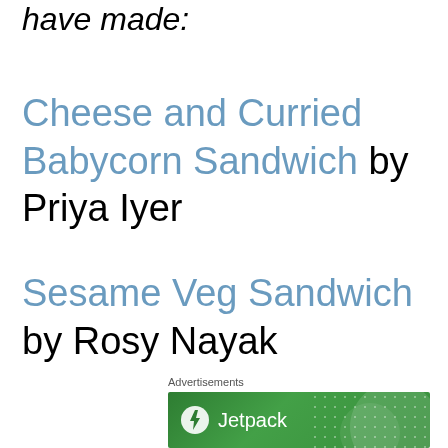have made:
Cheese and Curried Babycorn Sandwich by Priya Iyer
Sesame Veg Sandwich by Rosy Nayak
Advertisements
[Figure (logo): Jetpack advertisement banner with green background, Jetpack logo (lightning bolt in circle) and text 'Jetpack']